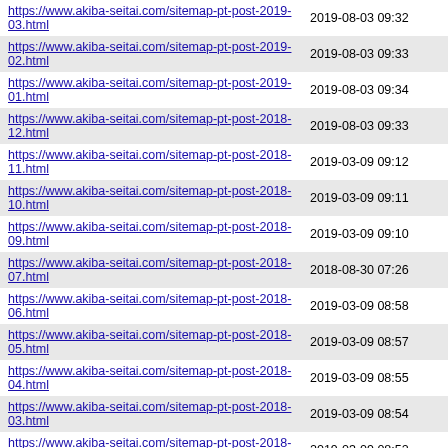| URL | Date |
| --- | --- |
| https://www.akiba-seitai.com/sitemap-pt-post-2019-03.html | 2019-08-03 09:32 |
| https://www.akiba-seitai.com/sitemap-pt-post-2019-02.html | 2019-08-03 09:33 |
| https://www.akiba-seitai.com/sitemap-pt-post-2019-01.html | 2019-08-03 09:34 |
| https://www.akiba-seitai.com/sitemap-pt-post-2018-12.html | 2019-08-03 09:33 |
| https://www.akiba-seitai.com/sitemap-pt-post-2018-11.html | 2019-03-09 09:12 |
| https://www.akiba-seitai.com/sitemap-pt-post-2018-10.html | 2019-03-09 09:11 |
| https://www.akiba-seitai.com/sitemap-pt-post-2018-09.html | 2019-03-09 09:10 |
| https://www.akiba-seitai.com/sitemap-pt-post-2018-07.html | 2018-08-30 07:26 |
| https://www.akiba-seitai.com/sitemap-pt-post-2018-06.html | 2019-03-09 08:58 |
| https://www.akiba-seitai.com/sitemap-pt-post-2018-05.html | 2019-03-09 08:57 |
| https://www.akiba-seitai.com/sitemap-pt-post-2018-04.html | 2019-03-09 08:55 |
| https://www.akiba-seitai.com/sitemap-pt-post-2018-03.html | 2019-03-09 08:54 |
| https://www.akiba-seitai.com/sitemap-pt-post-2018-02.html | 2019-03-09 08:52 |
| https://www.akiba-seitai.com/sitemap-pt-post-2018-01.html | 2019-03-09 08:51 |
| https://www.akiba-seitai.com/sitemap-pt-post-2017-12.html | 2019-03-09 08:51 |
| https://www.akiba-seitai.com/sitemap-pt-post-2017-11.html | 2017-11-10 12:18 |
| https://www.akiba-seitai.com/sitemap-pt-post-2017-10.html | 2017-10-29 06:18 |
| https://www.akiba-seitai.com/sitemap-pt-post-2017-09.html | 2017-09-17 13:40 |
| https://www.akiba-seitai.com/sitemap-pt-post-2017-08.html | 2017-08-28 14:53 |